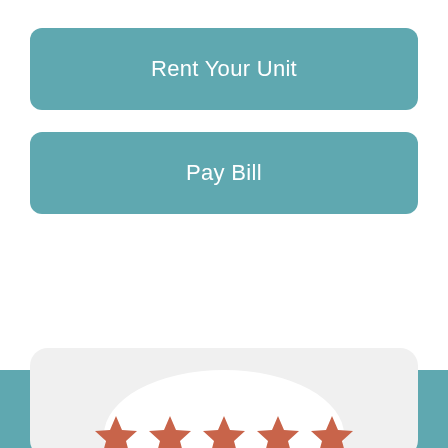Rent Your Unit
Pay Bill
[Figure (illustration): Speech bubble containing five terracotta/salmon colored 5-pointed stars, representing a 5-star rating]
5-Star Rated Customer Service
Welcome! Our job number one is taking care